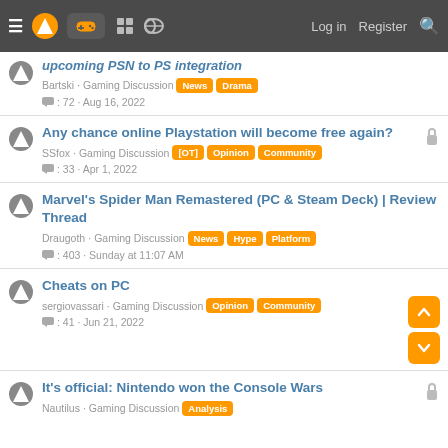Navigation bar with logo, gaming icon, forum icons, Log in, Register, Search
upcoming PSN to PS integration — Bartski · Gaming Discussion [News] [Drama] · 72 · Aug 16, 2022
Any chance online Playstation will become free again? — SSfox · Gaming Discussion [OT] [Opinion] [Community] · 33 · Apr 1, 2022
Marvel's Spider Man Remastered (PC & Steam Deck) | Review Thread — Draugoth · Gaming Discussion [News] [Hype] [Platform] · 403 · Sunday at 11:07 AM
Cheats on PC — sergiovassari · Gaming Discussion [Opinion] [Community] · 41 · Jun 21, 2022
It's official: Nintendo won the Console Wars — Nautilus · Gaming Discussion [Analysis]